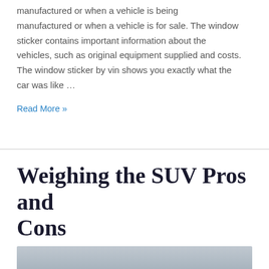manufactured or when a vehicle is for sale. The window sticker contains important information about the vehicles, such as original equipment supplied and costs. The window sticker by vin shows you exactly what the car was like …
Read More »
Weighing the SUV Pros and Cons
Leave a Comment
[Figure (photo): Partial view of a vehicle photo at the bottom of the page, showing a grey/blue tone]